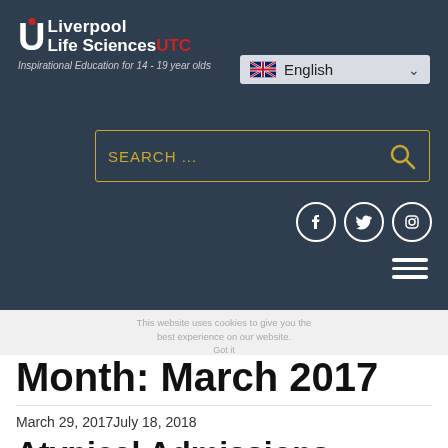[Figure (logo): Liverpool Life Sciences UTC logo with red dot on U, white text, and red UTC letters]
Inspirational Education for 14 - 19 year olds
[Figure (screenshot): English language selector dropdown with UK flag]
[Figure (screenshot): Search bar with SEARCH ... placeholder text and magnifying glass icon]
[Figure (screenshot): Social media icons: Facebook, Twitter, Instagram in white circles]
[Figure (screenshot): Hamburger menu icon (three horizontal lines)]
This website uses cookies to give you the best experience on our website.
Got it
Month: March 2017
March 29, 2017July 18, 2018
Atypical Admissions